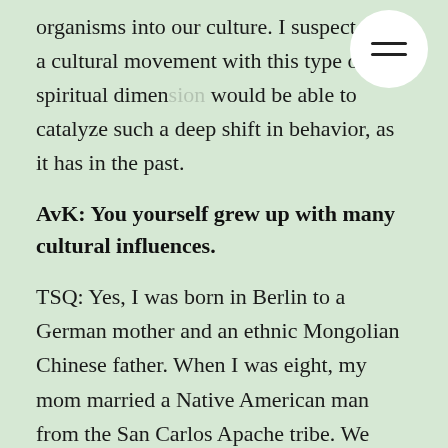organisms into our culture. I suspect only a cultural movement with this type of spiritual dimen… would be able to catalyze such a deep shift in behavior, as it has in the past.
AvK: You yourself grew up with many cultural influences.
TSQ: Yes, I was born in Berlin to a German mother and an ethnic Mongolian Chinese father. When I was eight, my mom married a Native American man from the San Carlos Apache tribe. We moved to Arizona and I grew up there. During that time,